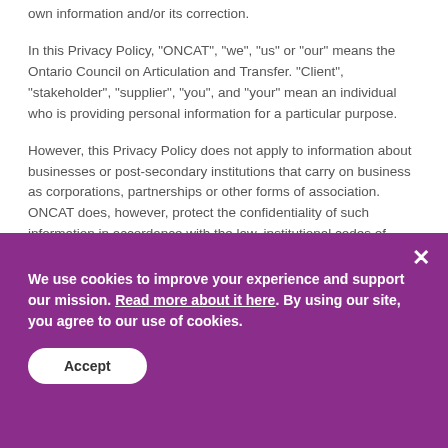own information and/or its correction.
In this Privacy Policy, "ONCAT", "we", "us" or "our" means the Ontario Council on Articulation and Transfer. "Client", "stakeholder", "supplier", "you", and "your" mean an individual who is providing personal information for a particular purpose.
However, this Privacy Policy does not apply to information about businesses or post-secondary institutions that carry on business as corporations, partnerships or other forms of association. ONCAT does, however, protect the confidentiality of such information in accordance with the law, institutional codes of conduct, contractual arrangements and our own policies.
We use cookies to improve your experience and support our mission. Read more about it here. By using our site, you agree to our use of cookies.